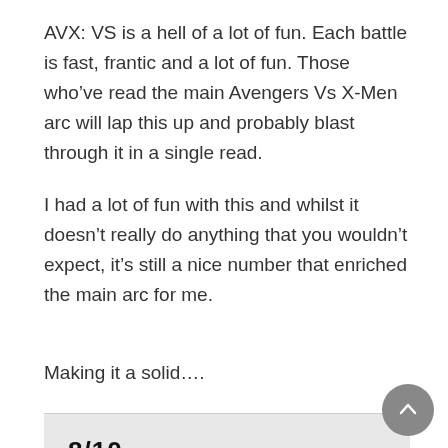AVX: VS is a hell of a lot of fun. Each battle is fast, frantic and a lot of fun. Those who’ve read the main Avengers Vs X-Men arc will lap this up and probably blast through it in a single read.
I had a lot of fun with this and whilst it doesn’t really do anything that you wouldn’t expect, it’s still a nice number that enriched the main arc for me.
Making it a solid….
8/10
Filed under: Avengers Comics, Captain America Comics, Doctor Strange, Iron Man Comics, Spiderman